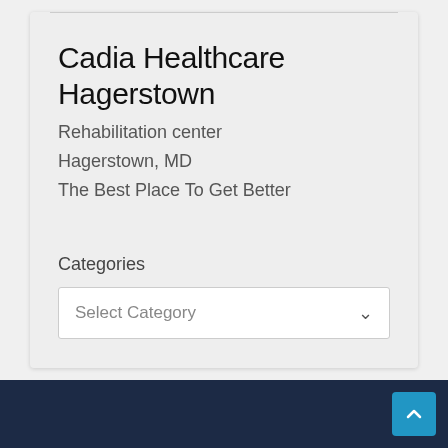Cadia Healthcare Hagerstown
Rehabilitation center
Hagerstown, MD
The Best Place To Get Better
Categories
[Figure (screenshot): Select Category dropdown input field with chevron arrow]
[Figure (screenshot): Dark navy footer section with blue scroll-to-top button with upward chevron]